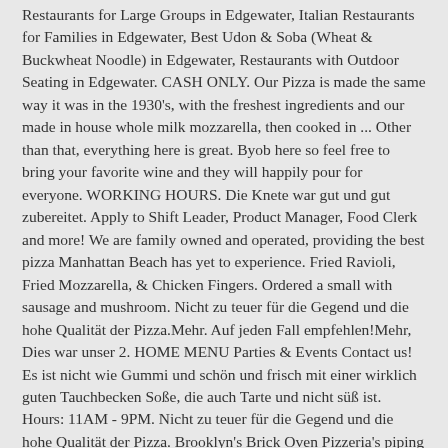Restaurants for Large Groups in Edgewater, Italian Restaurants for Families in Edgewater, Best Udon & Soba (Wheat & Buckwheat Noodle) in Edgewater, Restaurants with Outdoor Seating in Edgewater. CASH ONLY. Our Pizza is made the same way it was in the 1930's, with the freshest ingredients and our made in house whole milk mozzarella, then cooked in ... Other than that, everything here is great. Byob here so feel free to bring your favorite wine and they will happily pour for everyone. WORKING HOURS. Die Knete war gut und gut zubereitet. Apply to Shift Leader, Product Manager, Food Clerk and more! We are family owned and operated, providing the best pizza Manhattan Beach has yet to experience. Fried Ravioli, Fried Mozzarella, & Chicken Fingers. Ordered a small with sausage and mushroom. Nicht zu teuer für die Gegend und die hohe Qualität der Pizza.Mehr. Auf jeden Fall empfehlen!Mehr, Dies war unser 2. HOME MENU Parties & Events Contact us! Es ist nicht wie Gummi und schön und frisch mit einer wirklich guten Tauchbecken Soße, die auch Tarte und nicht süß ist. Hours: 11AM - 9PM. Nicht zu teuer für die Gegend und die hohe Qualität der Pizza. Brooklyn's Brick Oven Pizzeria's piping pizza is just as hot as its ratings, and customers call this Edgewater spot one of the best around. Pizza Restaurants in Edgewater. Flughafen John F. Kennedy, Hotels in der Nähe von (LGA) Flughafen La Guardia, Restaurants mit glutenfreien Gerichten in